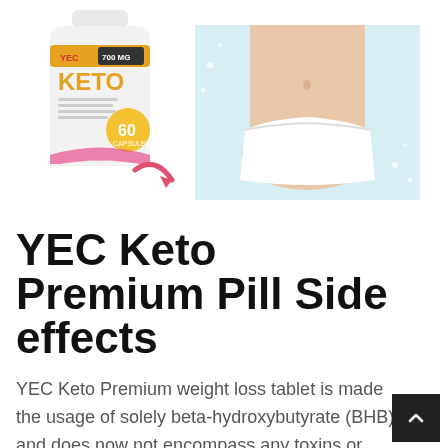[Figure (photo): A supplement bottle labeled YEC 700MG KETO 60 capsules on the left, a pink curved arrow pointing right, and a photo of a woman's midsection in white underwear on the right against a light blue background.]
YEC Keto Premium Pill Side effects
YEC Keto Premium weight loss tablet is made the usage of solely beta-hydroxybutyrate (BHB) and does now not encompass any toxins or damaging